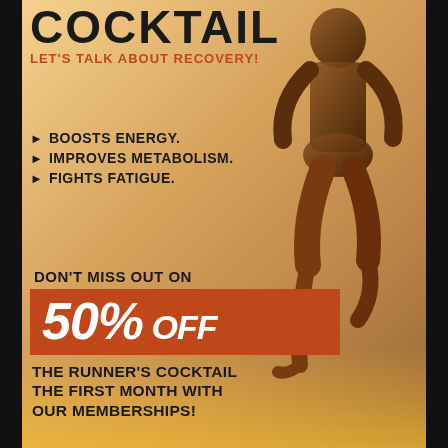COCKTAIL
LET'S TALK ABOUT RECOVERY!
BOOSTS ENERGY.
IMPROVES METABOLISM.
FIGHTS FATIGUE.
DON'T MISS OUT ON
50% OFF
THE RUNNER'S COCKTAIL THE FIRST MONTH WITH OUR MEMBERSHIPS!